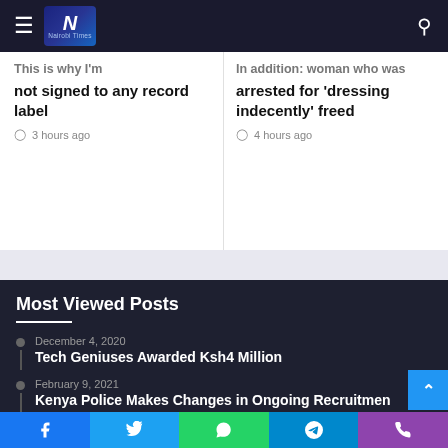Nairobi Times
This is why I'm not signed to any record label — 3 hours ago
Ugandan woman who was arrested for 'dressing indecently' freed — 4 hours ago
Most Viewed Posts
December 4, 2020 — Tech Geniuses Awarded Ksh4 Million
February 9, 2021 — Kenya Police Makes Changes in Ongoing Recruitment
March 18, 2021